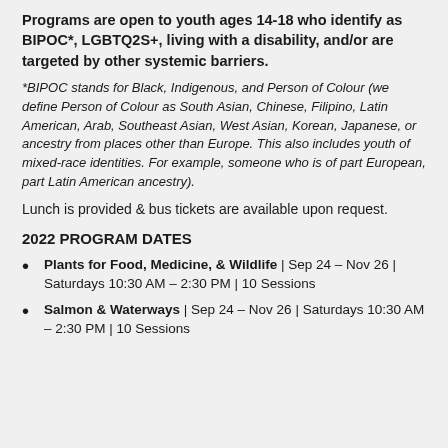Programs are open to youth ages 14-18 who identify as BIPOC*, LGBTQ2S+, living with a disability, and/or are targeted by other systemic barriers.
*BIPOC stands for Black, Indigenous, and Person of Colour (we define Person of Colour as South Asian, Chinese, Filipino, Latin American, Arab, Southeast Asian, West Asian, Korean, Japanese, or ancestry from places other than Europe. This also includes youth of mixed-race identities. For example, someone who is of part European, part Latin American ancestry).
Lunch is provided & bus tickets are available upon request.
2022 PROGRAM DATES
Plants for Food, Medicine, & Wildlife | Sep 24 – Nov 26 | Saturdays 10:30 AM – 2:30 PM | 10 Sessions
Salmon & Waterways | Sep 24 – Nov 26 | Saturdays 10:30 AM – 2:30 PM | 10 Sessions